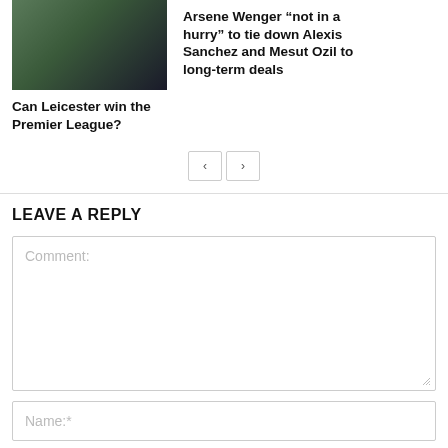[Figure (photo): Photo of soccer/football goalkeepers or players in green and blue jerseys]
Can Leicester win the Premier League?
Arsene Wenger “not in a hurry” to tie down Alexis Sanchez and Mesut Ozil to long-term deals
LEAVE A REPLY
Comment:
Name:*